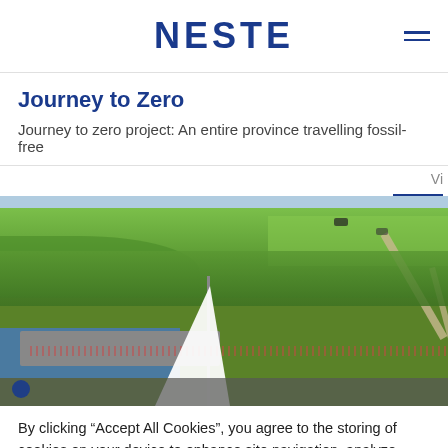NESTE
Journey to Zero
Journey to zero project: An entire province travelling fossil-free
Vi
[Figure (photo): Aerial photo of a Dutch landscape with green fields, a waterway, a bridge with people, a sailboat with white sail, and a road. Participants of a fossil-free travel event are visible on the bridge.]
By clicking “Accept All Cookies”, you agree to the storing of cookies on your device to enhance site navigation, analyze